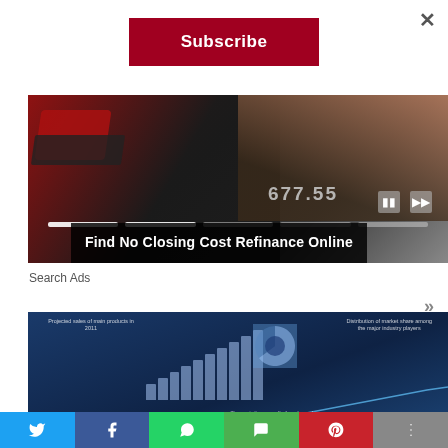×
Subscribe
[Figure (screenshot): Video player showing a hand pressing a red key on a keyboard, with number 677.55 visible, pause and next controls, and a segmented progress bar]
Find No Closing Cost Refinance Online
Search Ads
»
[Figure (infographic): Dark blue infographic slide showing projected sales bar chart, distribution of market share pie chart among major industry players, and a projected line chart, with small white text labels]
[Figure (infographic): Social sharing bar at bottom with Twitter, Facebook, WhatsApp, SMS, Pinterest, and More buttons]